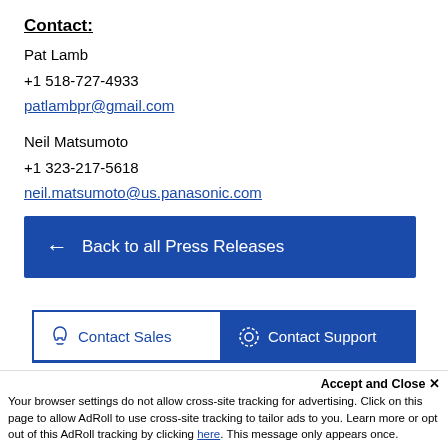Contact:
Pat Lamb
+1 518-727-4933
patlambpr@gmail.com
Neil Matsumoto
+1 323-217-5618
neil.matsumoto@us.panasonic.com
[Figure (other): Blue button with left arrow reading 'Back to all Press Releases']
[Figure (other): Two tabs: 'Contact Sales' (outlined, white background) and 'Contact Support' (filled blue background)]
Accept and Close ×
Your browser settings do not allow cross-site tracking for advertising. Click on this page to allow AdRoll to use cross-site tracking to tailor ads to you. Learn more or opt out of this AdRoll tracking by clicking here. This message only appears once.